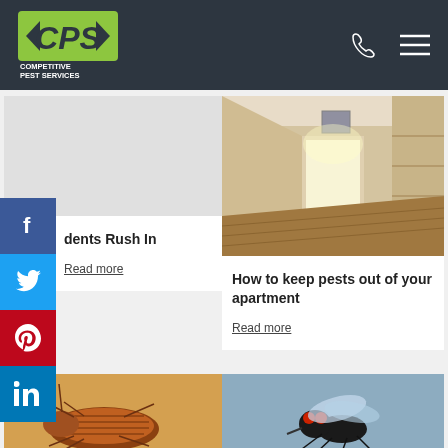CPS Competitive Pest Services
[Figure (screenshot): Social media sidebar with Facebook, Twitter, Pinterest, LinkedIn icons]
[Figure (photo): Interior hallway of an apartment with hardwood floors and sunlight]
dents Rush In
Read more
How to keep pests out of your apartment
Read more
[Figure (photo): Close-up of a bedbug insect]
[Figure (photo): Close-up of a fly insect]